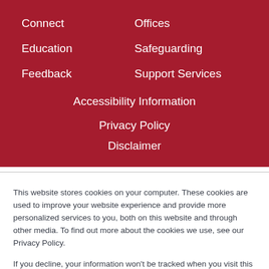Connect
Offices
Education
Safeguarding
Feedback
Support Services
Accessibility Information
Privacy Policy
Disclaimer
This website stores cookies on your computer. These cookies are used to improve your website experience and provide more personalized services to you, both on this website and through other media. To find out more about the cookies we use, see our Privacy Policy.
If you decline, your information won’t be tracked when you visit this website. A single cookie will be used in your browser to remember your preference not to be tracked.